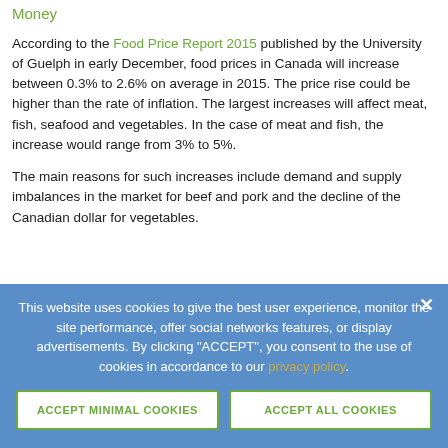Money
According to the Food Price Report 2015 published by the University of Guelph in early December, food prices in Canada will increase between 0.3% to 2.6% on average in 2015. The price rise could be higher than the rate of inflation. The largest increases will affect meat, fish, seafood and vegetables. In the case of meat and fish, the increase would range from 3% to 5%.
The main reasons for such increases include demand and supply imbalances in the market for beef and pork and the decline of the Canadian dollar for vegetables.
This website uses cookies to give the best user experience, monitor the site performance, offer social networks features, or display advertisements. By clicking "ACCEPT", you consent to the use of cookies in accordance to our privacy policy.
ACCEPT MINIMAL COOKIES
ACCEPT ALL COOKIES